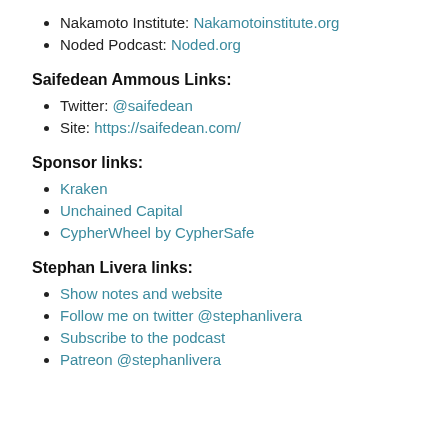Nakamoto Institute: Nakamotoinstitute.org
Noded Podcast: Noded.org
Saifedean Ammous Links:
Twitter: @saifedean
Site: https://saifedean.com/
Sponsor links:
Kraken
Unchained Capital
CypherWheel by CypherSafe
Stephan Livera links:
Show notes and website
Follow me on twitter @stephanlivera
Subscribe to the podcast
Patreon @stephanlivera